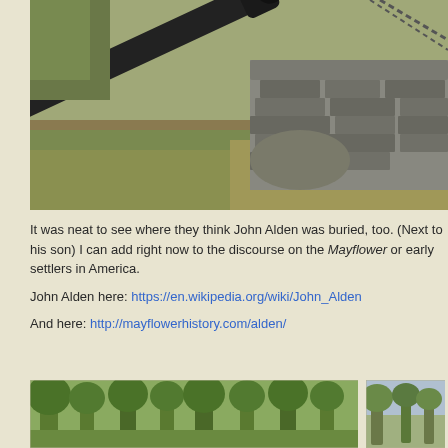[Figure (photo): A black cannon with a red tip angled diagonally, resting against a stone wall structure in a grassy outdoor area with chains visible in the background.]
It was neat to see where they think John Alden was buried, too. (Next to his son) I can add right now to the discourse on the Mayflower or early settlers in America.
John Alden here: https://en.wikipedia.org/wiki/John_Alden
And here: http://mayflowerhistory.com/alden/
[Figure (photo): A forested outdoor scene with trees and greenery, partially visible.]
[Figure (photo): Another outdoor scene, partially visible on the right side.]